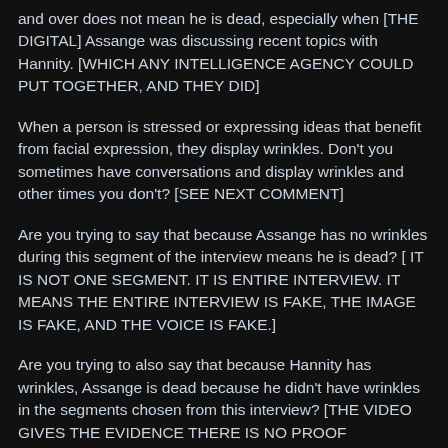and over does not mean he is dead, especially when [THE DIGITAL] Assange was discussing recent topics with Hannity. [WHICH ANY INTELLIGENCE AGENCY COULD PUT TOGETHER, AND THEY DID]
When a person is stressed or expressing ideas that benefit from facial expression, they display wrinkles. Don't you sometimes have conversations and display wrinkles and other times you don't? [SEE NEXT COMMENT]
Are you trying to say that because Assange has no wrinkles during this segment of the interview means he is dead? [ IT IS NOT ONE SEGMENT. IT IS ENTIRE INTERVIEW. IT MEANS THE ENTIRE INTERVIEW IS FAKE, THE IMAGE IS FAKE, AND THE VOICE IS FAKE.]
Are you trying to also say that because Hannity has wrinkles, Assange is dead because he didn't have wrinkles in the segments chosen from this interview? [THE VIDEO GIVES THE EVIDENCE THERE IS NO PROOF